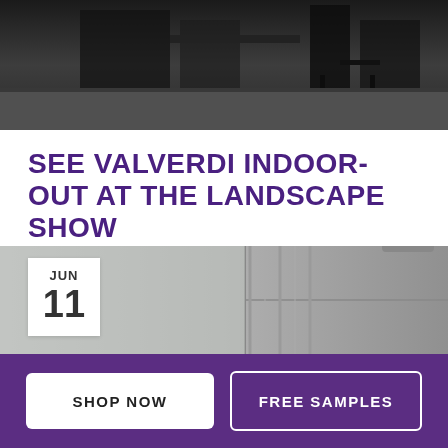[Figure (photo): Black and white photo of an indoor room with chairs, tables and dark flooring]
SEE VALVERDI INDOOR-OUT AT THE LANDSCAPE SHOW
See Valverdi Indoor-Out at the Landscape Show is returning to Battersea Park this September and Valverdi stockist Green Garden Paving will be...
[Figure (photo): Photo of paving slabs/stone tiles in a warehouse or showroom setting, with a date badge showing JUN 11]
SHOP NOW
FREE SAMPLES